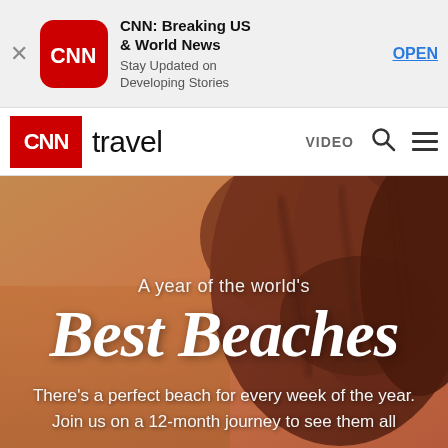[Figure (screenshot): CNN app store banner with CNN logo, title 'CNN: Breaking US & World News', subtitle 'Stay Updated on Developing Stories', and OPEN button]
CNN travel  VIDEO
[Figure (photo): Hero image of a beach/coastal cliff scene with warm golden-red tones overlay, featuring text 'A year of the world's Best Beaches - There's a perfect beach for every week of the year. Join us on a 12-month journey to see them all']
A year of the world's
Best Beaches
There's a perfect beach for every week of the year. Join us on a 12-month journey to see them all